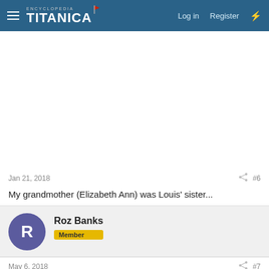Encyclopedia Titanica — Log in  Register
Jan 21, 2018   #6
My grandmother (Elizabeth Ann) was Louis&#039; sister...
Roz Banks — Member
May 6, 2018   #7